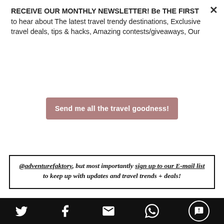RECEIVE OUR MONTHLY NEWSLETTER! Be THE FIRST to hear about The latest travel trendy destinations, Exclusive travel deals, tips & hacks, Amazing contests/giveaways, Our
Send me all the travel goodness!
@adventurefaktory, but most importantly sign up to our E-mail list to keep up with updates and travel trends + deals!
Disclaimer: We went to Madagascar with WAU Madagascar as part of a partnership. They paid for the tour during the trip. We paid for our flights to and from Madagascar. This stay is not a paid collaboration and all opinions are our own. Thank you.
[social share icons: Twitter, Facebook, Email, WhatsApp, SMS]